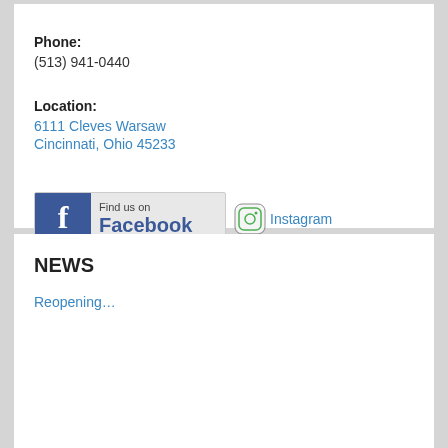Phone:
(513) 941-0440
Location:
6111 Cleves Warsaw
Cincinnati, Ohio 45233
[Figure (logo): Find us on Facebook badge with blue Facebook icon and text]
[Figure (logo): Instagram logo/badge]
NEWS
Reopening…